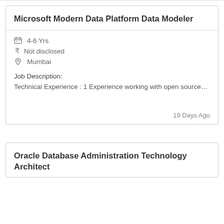Microsoft Modern Data Platform Data Modeler
4-6 Yrs
Not disclosed
Mumbai
Job Description:
Technical Experience : 1 Experience working with open source…
19 Days Ago
Oracle Database Administration Technology Architect